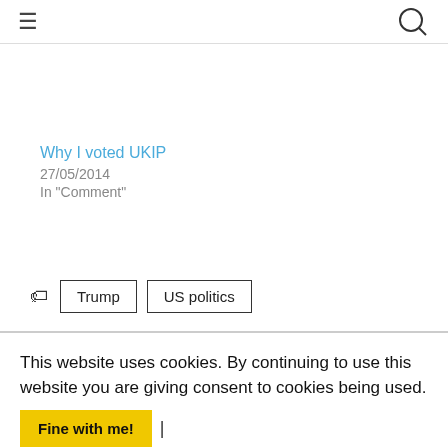≡ [menu icon] [search icon]
Why I voted UKIP
27/05/2014
In "Comment"
Trump
US politics
This website uses cookies. By continuing to use this website you are giving consent to cookies being used. Fine with me! | Tell me more.